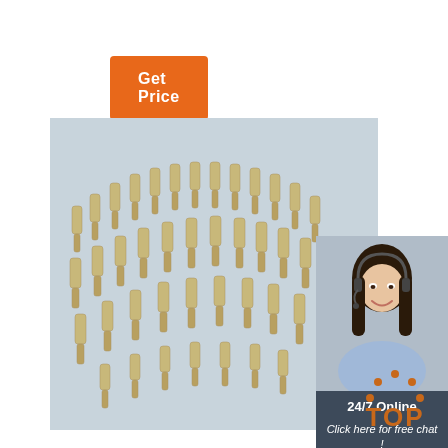[Figure (other): Orange 'Get Price' button in top-left area]
[Figure (photo): Product photo showing multiple rows of diamond-tipped rotary grinding bits/burrs arranged in fan/arc patterns on a light blue background]
[Figure (photo): Customer service sidebar panel with dark blue-gray background, showing a smiling female agent with headset, text '24/7 Online', 'Click here for free chat!', and an orange QUOTATION button]
[Figure (logo): TOP logo with orange dot-arc arch above the word TOP in orange bold text]